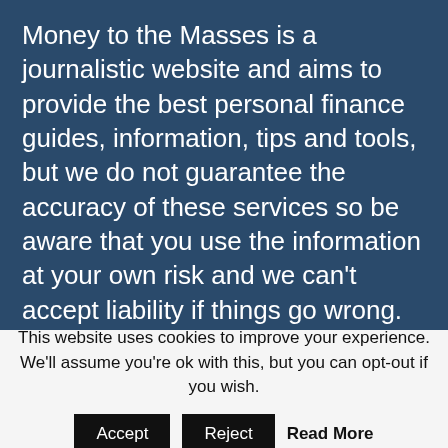Money to the Masses is a journalistic website and aims to provide the best personal finance guides, information, tips and tools, but we do not guarantee the accuracy of these services so be aware that you use the information at your own risk and we can't accept liability if things go wrong.
We aim to give you accurate information at the date of publication, unfortunately price and terms and conditions of products and offers can change, so double check first. Leadenhall Learning, Money to the Masses, 80-20 Investor, Damien's Money MOT nor its content providers are responsible for
This website uses cookies to improve your experience. We'll assume you're ok with this, but you can opt-out if you wish.